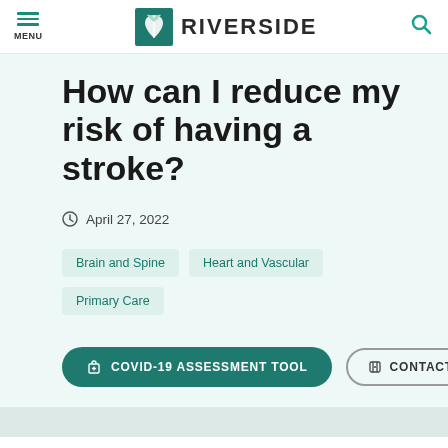MENU | RIVERSIDE
How can I reduce my risk of having a stroke?
April 27, 2022
Brain and Spine
Heart and Vascular
Primary Care
COVID-19 ASSESSMENT TOOL
CONTACT US